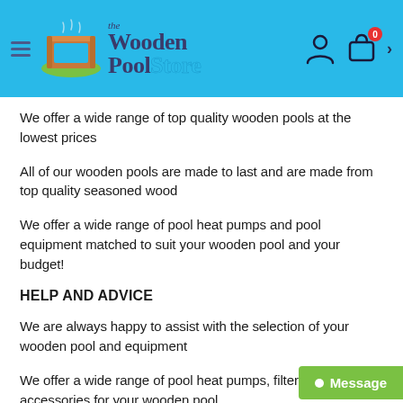[Figure (logo): The Wooden Pool Store logo with a green-rimmed wooden pool graphic and the shop name in navy and teal]
We offer a wide range of top quality wooden pools at the lowest prices
All of our wooden pools are made to last and are made from top quality seasoned wood
We offer a wide range of pool heat pumps and pool equipment matched to suit your wooden pool and your budget!
HELP AND ADVICE
We are always happy to assist with the selection of your wooden pool and equipment
We offer a wide range of pool heat pumps, filters and accessories for your wooden pool
Please call us now for some free friendly, knowledab